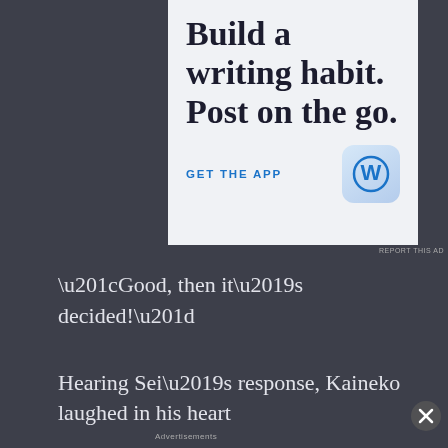[Figure (illustration): WordPress app advertisement banner. White/light blue background with large serif text 'Build a writing habit. Post on the go.' Blue uppercase text 'GET THE APP' and WordPress logo icon (blue W in rounded square).]
REPORT THIS AD
“Good, then it’s decided!”
Hearing Sei’s response, Kaineko laughed in his heart
[Figure (illustration): Seamless food delivery advertisement. Dark background with pizza image on left, red 'seamless' button in center, white 'ORDER NOW' button on right.]